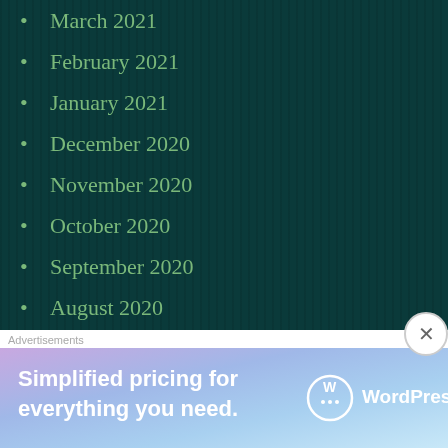March 2021
February 2021
January 2021
December 2020
November 2020
October 2020
September 2020
August 2020
July 2020
June 2020
May 2020
April 2020
March 2020
[Figure (photo): Thumbnail image of two people]
No Ro a l Ta
[Figure (photo): Thumbnail image of person in red]
Ba co in Je he
[Figure (photo): Thumbnail image dark scene]
Su dr st
[Figure (photo): Partial red thumbnail at bottom]
Advertisements
[Figure (screenshot): WordPress.com advertisement banner: Simplified pricing for everything you need.]